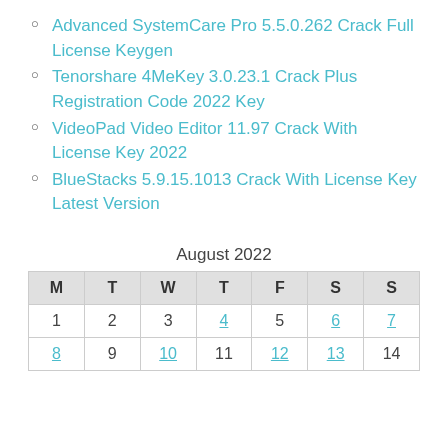Advanced SystemCare Pro 5.5.0.262 Crack Full License Keygen
Tenorshare 4MeKey 3.0.23.1 Crack Plus Registration Code 2022 Key
VideoPad Video Editor 11.97 Crack With License Key 2022
BlueStacks 5.9.15.1013 Crack With License Key Latest Version
August 2022
| M | T | W | T | F | S | S |
| --- | --- | --- | --- | --- | --- | --- |
| 1 | 2 | 3 | 4 | 5 | 6 | 7 |
| 8 | 9 | 10 | 11 | 12 | 13 | 14 |